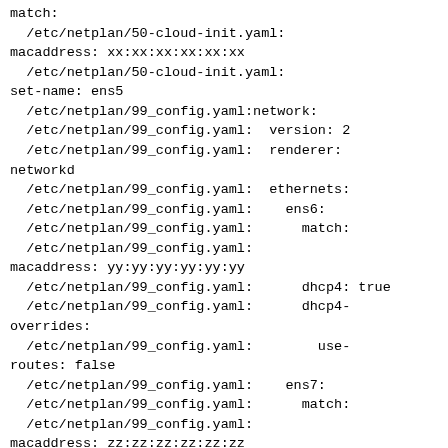match:
  /etc/netplan/50-cloud-init.yaml:
macaddress: xx:xx:xx:xx:xx:xx
  /etc/netplan/50-cloud-init.yaml:
set-name: ens5
  /etc/netplan/99_config.yaml:network:
  /etc/netplan/99_config.yaml:  version: 2
  /etc/netplan/99_config.yaml:  renderer:
networkd
  /etc/netplan/99_config.yaml:  ethernets:
  /etc/netplan/99_config.yaml:    ens6:
  /etc/netplan/99_config.yaml:      match:
  /etc/netplan/99_config.yaml:
macaddress: yy:yy:yy:yy:yy:yy
  /etc/netplan/99_config.yaml:      dhcp4: true
  /etc/netplan/99_config.yaml:      dhcp4-
overrides:
  /etc/netplan/99_config.yaml:        use-
routes: false
  /etc/netplan/99_config.yaml:    ens7:
  /etc/netplan/99_config.yaml:      match:
  /etc/netplan/99_config.yaml:
macaddress: zz:zz:zz:zz:zz:zz